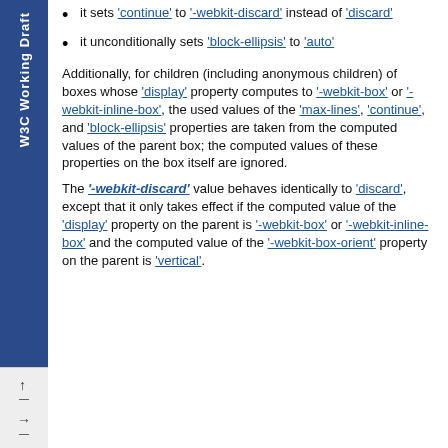it sets 'continue' to '-webkit-discard' instead of 'discard'
it unconditionally sets 'block-ellipsis' to 'auto'
Additionally, for children (including anonymous children) of boxes whose 'display' property computes to '-webkit-box' or '-webkit-inline-box', the used values of the 'max-lines', 'continue', and 'block-ellipsis' properties are taken from the computed values of the parent box; the computed values of these properties on the box itself are ignored.
The '-webkit-discard' value behaves identically to 'discard', except that it only takes effect if the computed value of the 'display' property on the parent is '-webkit-box' or '-webkit-inline-box' and the computed value of the '-webkit-box-orient' property on the parent is 'vertical'.
W3C Working Draft